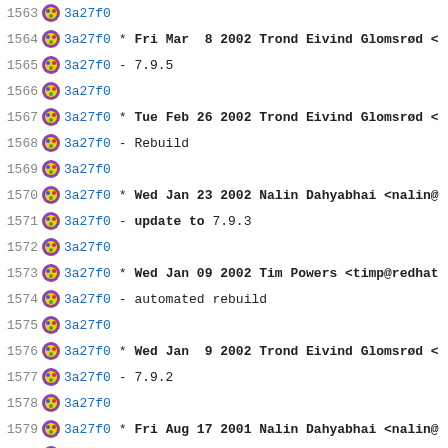1563  3a27f0
1564  3a27f0  * Fri Mar  8 2002 Trond Eivind Glomsrød <
1565  3a27f0  - 7.9.5
1566  3a27f0
1567  3a27f0  * Tue Feb 26 2002 Trond Eivind Glomsrød <
1568  3a27f0  - Rebuild
1569  3a27f0
1570  3a27f0  * Wed Jan 23 2002 Nalin Dahyabhai <nalin@
1571  3a27f0  - update to 7.9.3
1572  3a27f0
1573  3a27f0  * Wed Jan 09 2002 Tim Powers <timp@redhat
1574  3a27f0  - automated rebuild
1575  3a27f0
1576  3a27f0  * Wed Jan  9 2002 Trond Eivind Glomsrød <
1577  3a27f0  - 7.9.2
1578  3a27f0
1579  3a27f0  * Fri Aug 17 2001 Nalin Dahyabhai <nalin@
1580  3a27f0  - include curl-config in curl-devel
1581  3a27f0  - update to 7.8 to fix memory leak and st
1582  3a27f0
1583  3a27f0  * Wed Jul 18 2001 Crutcher Dunnavant <cru
1584  3a27f0  - added openssl-devel build req